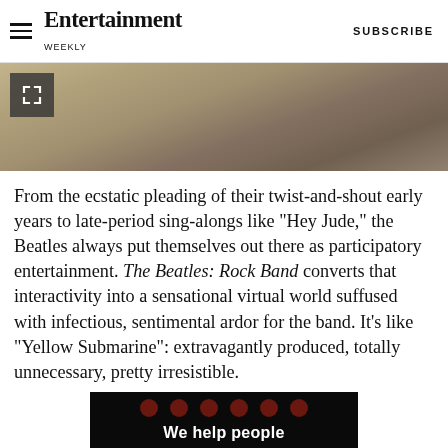Entertainment Weekly — SUBSCRIBE
[Figure (photo): Close-up photo of hands playing a guitar, partially visible at top of page with a fullscreen expand icon overlay]
From the ecstatic pleading of their twist-and-shout early years to late-period sing-alongs like "Hey Jude," the Beatles always put themselves out there as participatory entertainment. The Beatles: Rock Band converts that interactivity into a sensational virtual world suffused with infectious, sentimental ardor for the band. It's like "Yellow Submarine": extravagantly produced, totally unnecessary, pretty irresistible.
[Figure (screenshot): Bottom portion of an ad or video thumbnail with dark background, red dots, and white text reading 'We help people']